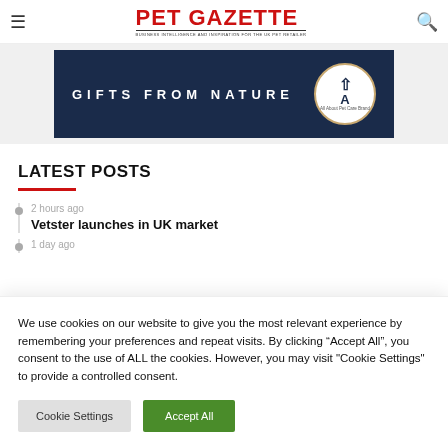PET GAZETTE
[Figure (other): Pet Gazette banner advertisement with dark navy background, text 'GIFTS FROM NATURE' and a circular badge logo]
LATEST POSTS
2 hours ago — Vetster launches in UK market
1 day ago
We use cookies on our website to give you the most relevant experience by remembering your preferences and repeat visits. By clicking “Accept All”, you consent to the use of ALL the cookies. However, you may visit "Cookie Settings" to provide a controlled consent.